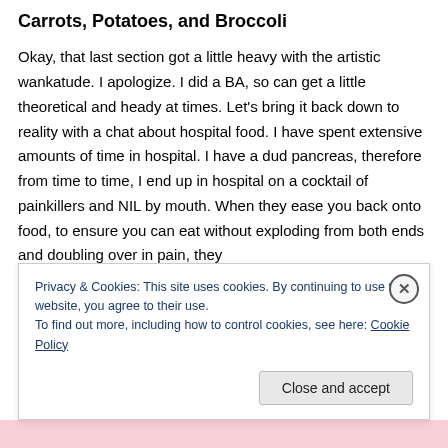Carrots, Potatoes, and Broccoli
Okay, that last section got a little heavy with the artistic wankatude. I apologize. I did a BA, so can get a little theoretical and heady at times. Let's bring it back down to reality with a chat about hospital food. I have spent extensive amounts of time in hospital. I have a dud pancreas, therefore from time to time, I end up in hospital on a cocktail of painkillers and NIL by mouth. When they ease you back onto food, to ensure you can eat without exploding from both ends and doubling over in pain, they
Privacy & Cookies: This site uses cookies. By continuing to use this website, you agree to their use.
To find out more, including how to control cookies, see here: Cookie Policy